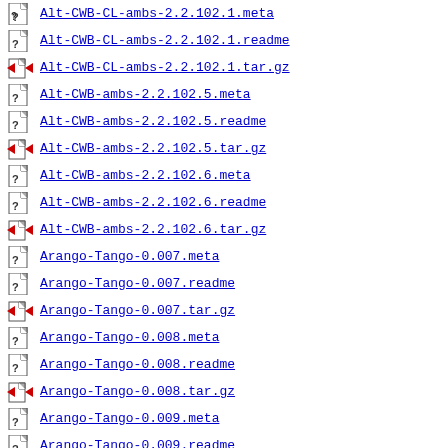Alt-CWB-CL-ambs-2.2.102.1.meta
Alt-CWB-CL-ambs-2.2.102.1.readme
Alt-CWB-CL-ambs-2.2.102.1.tar.gz
Alt-CWB-ambs-2.2.102.5.meta
Alt-CWB-ambs-2.2.102.5.readme
Alt-CWB-ambs-2.2.102.5.tar.gz
Alt-CWB-ambs-2.2.102.6.meta
Alt-CWB-ambs-2.2.102.6.readme
Alt-CWB-ambs-2.2.102.6.tar.gz
Arango-Tango-0.007.meta
Arango-Tango-0.007.readme
Arango-Tango-0.007.tar.gz
Arango-Tango-0.008.meta
Arango-Tango-0.008.readme
Arango-Tango-0.008.tar.gz
Arango-Tango-0.009.meta
Arango-Tango-0.009.readme